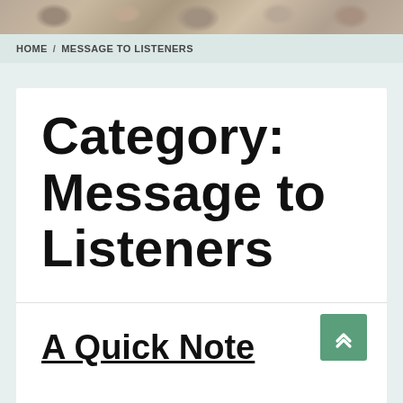[Figure (photo): Decorative banner image with sculpted or carved figures, brownish-grey tones]
HOME / MESSAGE TO LISTENERS
Category: Message to Listeners
A Quick Note